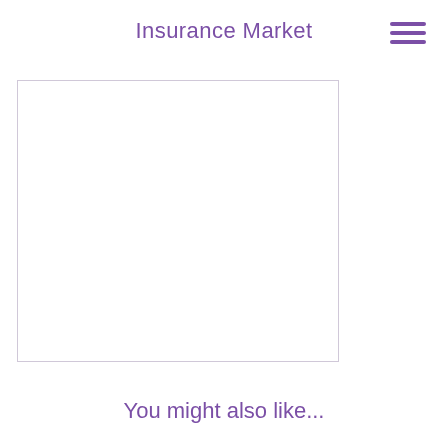Insurance Market
[Figure (other): Empty white image placeholder box with light border]
You might also like...